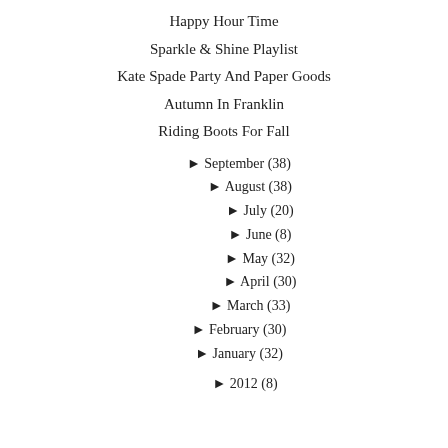Happy Hour Time
Sparkle & Shine Playlist
Kate Spade Party And Paper Goods
Autumn In Franklin
Riding Boots For Fall
► September (38)
► August (38)
► July (20)
► June (8)
► May (32)
► April (30)
► March (33)
► February (30)
► January (32)
► 2012 (8)